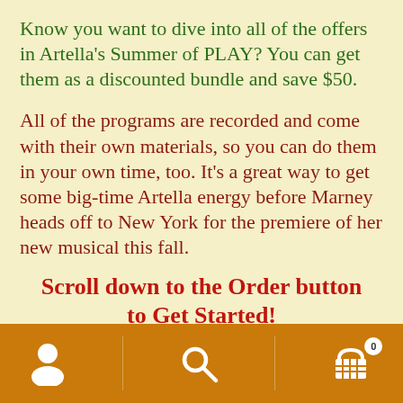Know you want to dive into all of the offers in Artella's Summer of PLAY?  You can get them as a discounted bundle and save $50.
All of the programs are recorded and come with their own materials, so you can do them in your own time, too.  It's a great way to get some big-time Artella energy before Marney heads off to New York for the premiere of her new musical this fall.
Scroll down to the Order button to Get Started!
Or explore the links for each of the 4
[Figure (infographic): Orange navigation footer bar with three white icons: person/user icon on left, search magnifying glass in center, shopping cart with badge showing '0' on right. Vertical dividers between icons.]